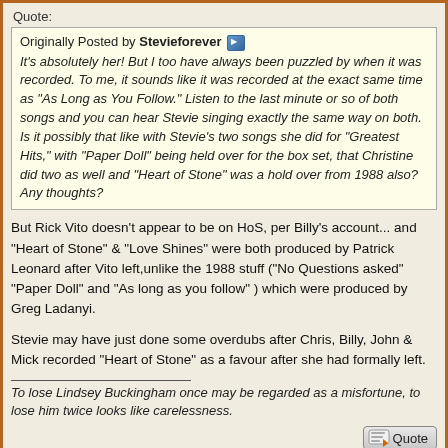Quote:
Originally Posted by Stevieforever
It's absolutely her! But I too have always been puzzled by when it was recorded. To me, it sounds like it was recorded at the exact same time as "As Long as You Follow." Listen to the last minute or so of both songs and you can hear Stevie singing exactly the same way on both. Is it possibly that like with Stevie's two songs she did for "Greatest Hits," with "Paper Doll" being held over for the box set, that Christine did two as well and "Heart of Stone" was a hold over from 1988 also? Any thoughts?
But Rick Vito doesn't appear to be on HoS, per Billy's account... and "Heart of Stone" & "Love Shines" were both produced by Patrick Leonard after Vito left,unlike the 1988 stuff ("No Questions asked" "Paper Doll" and "As long as you follow" ) which were produced by Greg Ladanyi.
Stevie may have just done some overdubs after Chris, Billy, John & Mick recorded "Heart of Stone" as a favour after she had formally left.
To lose Lindsey Buckingham once may be regarded as a misfortune, to lose him twice looks like carelessness.
06-04-2021, 01:22 PM  #24